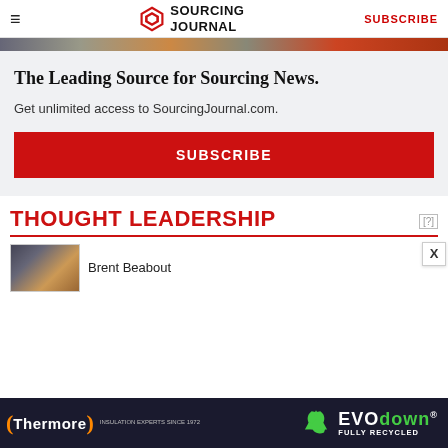Sourcing Journal — SUBSCRIBE
[Figure (photo): Image strip showing partially visible photos across a horizontal band]
The Leading Source for Sourcing News.
Get unlimited access to SourcingJournal.com.
SUBSCRIBE
THOUGHT LEADERSHIP
Brent Beabout
[Figure (photo): Article thumbnail image]
[Figure (infographic): Thermore EVO down advertisement banner — Insulation Experts Since 1972, Fully Recycled]